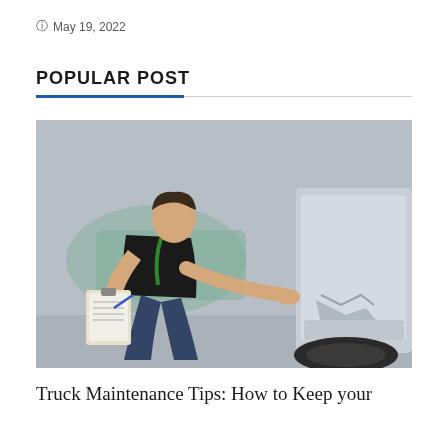May 19, 2022
POPULAR POST
[Figure (photo): A person in a black t-shirt with a green lanyard crouching down, writing on a clipboard while inspecting the rear bumper of a vehicle with a damaged bumper. A blurred teal car is visible in the background.]
Truck Maintenance Tips: How to Keep your